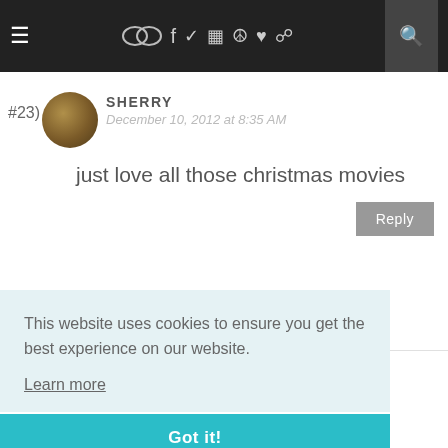≡  [icons]  🔍
#23) SHERRY
December 10, 2012 at 8:35 AM
just love all those christmas movies
[Reply]
#24) DEB@ASIMPLELIFEQUILTS
This website uses cookies to ensure you get the best experience on our website.
Learn more
Got it!